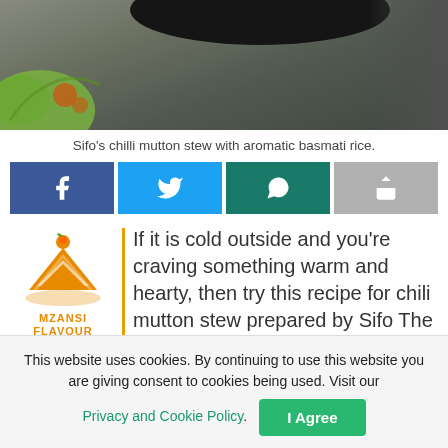[Figure (photo): Top portion of a photo showing a dark pan/pot and green leafy herbs with orange spices on a dark stone surface]
Sifo's chilli mutton stew with aromatic basmati rice.
[Figure (infographic): Social media share buttons: Facebook, Twitter, WhatsApp, and a forward/share button]
[Figure (logo): Mzansi Flavour logo — orange cake slice icon with text MZANSI FLAVOUR below]
If it is cold outside and you're craving something warm and hearty, then try this recipe for chili mutton stew prepared by Sifo The Cooking Husband. Sinoyolo Sifo, is a pharmacist by profession and a home cook. His hearty plates of
This website uses cookies. By continuing to use this website you are giving consent to cookies being used. Visit our Privacy and Cookie Policy. I Agree